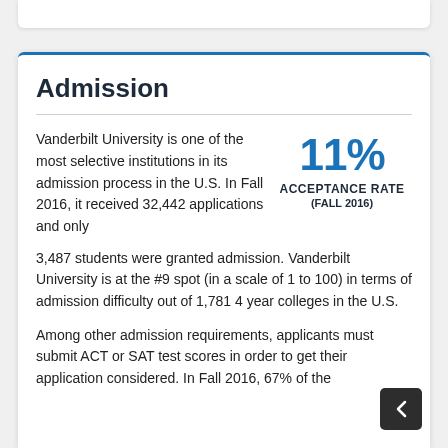Admission
Vanderbilt University is one of the most selective institutions in its admission process in the U.S. In Fall 2016, it received 32,442 applications and only 3,487 students were granted admission. Vanderbilt University is at the #9 spot (in a scale of 1 to 100) in terms of admission difficulty out of 1,781 4 year colleges in the U.S.
[Figure (infographic): 11% Acceptance Rate (Fall 2016) statistic callout box]
Among other admission requirements, applicants must submit ACT or SAT test scores in order to get their application considered. In Fall 2016, 67% of the